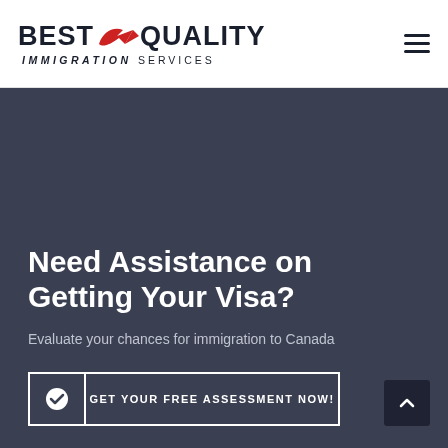[Figure (logo): Best Quality Immigration Services logo with red arrow swoosh between BEST and QUALITY wordmark, IMMIGRATION SERVICES in italic below]
Need Assistance on Getting Your Visa?
Evaluate your chances for immigration to Canada
GET YOUR FREE ASSESSMENT NOW!